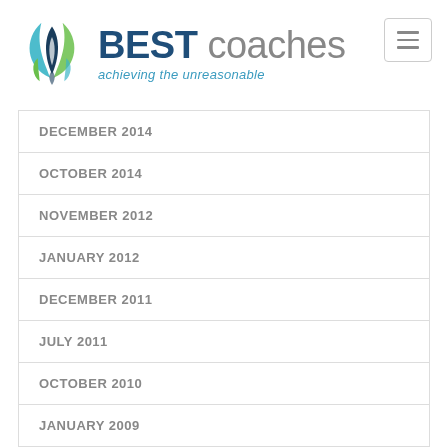[Figure (logo): BEST coaches logo with flame/leaf SVG icon and tagline 'achieving the unreasonable']
DECEMBER 2014
OCTOBER 2014
NOVEMBER 2012
JANUARY 2012
DECEMBER 2011
JULY 2011
OCTOBER 2010
JANUARY 2009